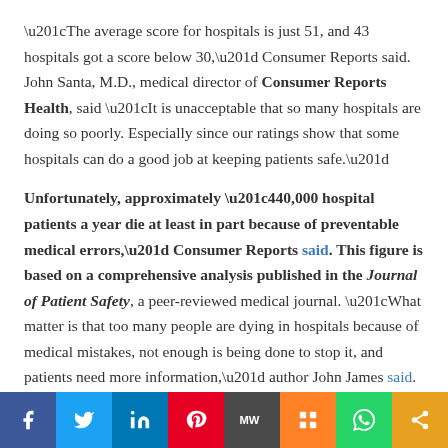“The average score for hospitals is just 51, and 43 hospitals got a score below 30,” Consumer Reports said. John Santa, M.D., medical director of Consumer Reports Health, said “It is unacceptable that so many hospitals are doing so poorly. Especially since our ratings show that some hospitals can do a good job at keeping patients safe.”
Unfortunately, approximately “440,000 hospital patients a year die at least in part because of preventable medical errors,” Consumer Reports said. This figure is based on a comprehensive analysis published in the Journal of Patient Safety, a peer-reviewed medical journal. “What matter is that too many people are dying in hospitals because of medical mistakes, not enough is being done to stop it, and patients need more information,” author John James said.